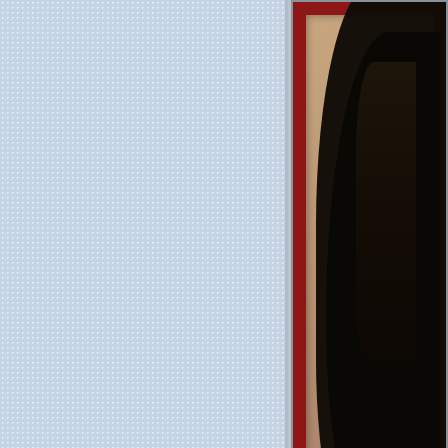[Figure (screenshot): Left portion: light blue speckled/textured background panel taking up roughly the left 65% of the page. Right portion: a framed portrait image with a dark red/maroon frame with gold ornamental corner, showing a figure with dark black hair. Below the portrait is a web interface message box with a 'Reply' button, 'From: Atlantida' label, and message text beginning 'Un reg'. At the bottom right is a partial decorative image with golden/antique appearance.]